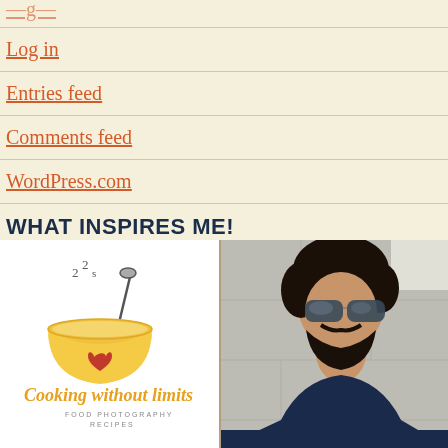Log in
Entries feed
Comments feed
WordPress.com
WHAT INSPIRES ME!
[Figure (logo): Cooking Without Limits logo — a yellow soup bowl with steam and a spoon, red heart, with cursive text 'Cooking without limits' and subtitle 'FOOD PHOTOGRAPHY RECIPES']
[Figure (photo): Photo of a young bearded man with sunglasses, wearing a dark blue t-shirt, outdoors against a white stone wall background]